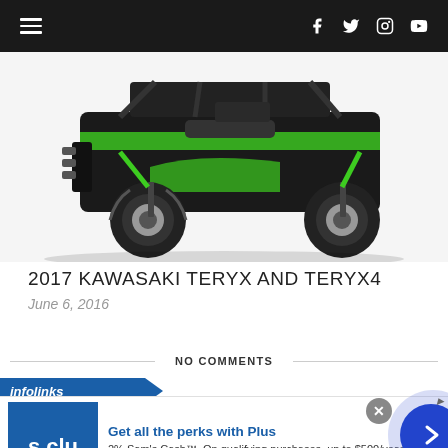Navigation bar with hamburger menu and social icons (Facebook, Twitter, Instagram, YouTube)
[Figure (photo): Green and black Kawasaki Teryx4 side-by-side UTV on white background, showing front and right side with large off-road tires, roll cage, and green graphics]
2017 KAWASAKI TERYX AND TERYX4
June 6, 2016
NO COMMENTS
[Figure (screenshot): Infolinks advertisement banner for Sam's Club Plus membership. Headline: Get all the perks with Plus. Body: 2% Sam's Cash™. On qualifying purchases, up to $500/year. URL: www.samsclub.com. Blue Sam's Club logo on left, blue arrow circle button on right.]